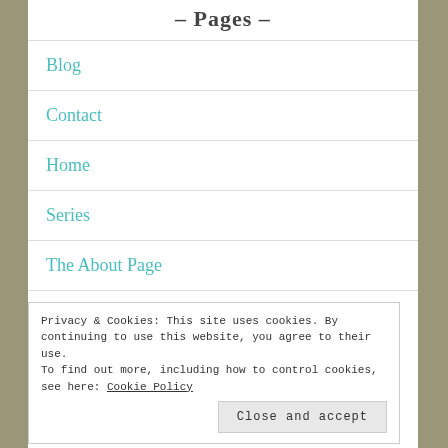– Pages –
Blog
Contact
Home
Series
The About Page
Privacy & Cookies: This site uses cookies. By continuing to use this website, you agree to their use.
To find out more, including how to control cookies, see here: Cookie Policy
Close and accept